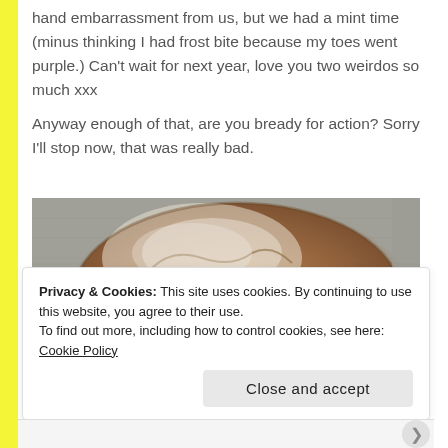hand embarrassment from us, but we had a mint time (minus thinking I had frost bite because my toes went purple.) Can't wait for next year, love you two weirdos so much xxx

Anyway enough of that, are you bready for action? Sorry I'll stop now, that was really bad.
[Figure (photo): Close-up photo of a round artisan bread loaf dusted with flour, sitting on a grey cloth/linen surface]
Privacy & Cookies: This site uses cookies. By continuing to use this website, you agree to their use.
To find out more, including how to control cookies, see here: Cookie Policy
Close and accept